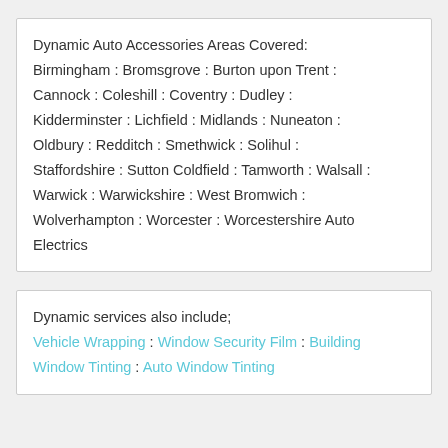Dynamic Auto Accessories Areas Covered: Birmingham : Bromsgrove : Burton upon Trent : Cannock : Coleshill : Coventry : Dudley : Kidderminster : Lichfield : Midlands : Nuneaton : Oldbury : Redditch : Smethwick : Solihul : Staffordshire : Sutton Coldfield : Tamworth : Walsall : Warwick : Warwickshire : West Bromwich : Wolverhampton : Worcester : Worcestershire Auto Electrics
Dynamic services also include; Vehicle Wrapping : Window Security Film : Building Window Tinting : Auto Window Tinting